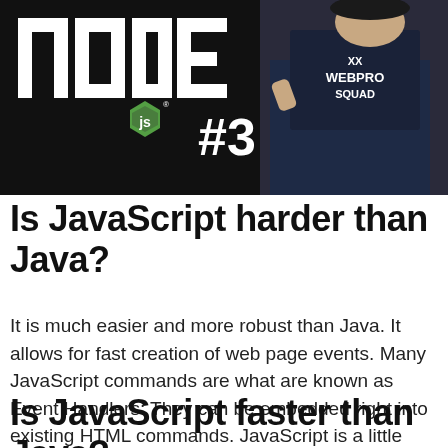[Figure (photo): Banner image showing Node.js logo with text '#3' on left side and a person wearing a 'WEBPRO SQUAD' jacket on the right side, dark background]
Is JavaScript harder than Java?
It is much easier and more robust than Java. It allows for fast creation of web page events. Many JavaScript commands are what are known as Event Handlers: They can be embedded right into existing HTML commands. JavaScript is a little more forgiving than Java.
Is JavaScript faster than Java?